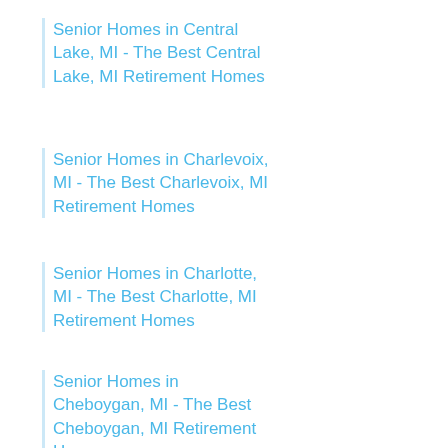Senior Homes in Central Lake, MI - The Best Central Lake, MI Retirement Homes
Senior Homes in Charlevoix, MI - The Best Charlevoix, MI Retirement Homes
Senior Homes in Charlotte, MI - The Best Charlotte, MI Retirement Homes
Senior Homes in Cheboygan, MI - The Best Cheboygan, MI Retirement Homes